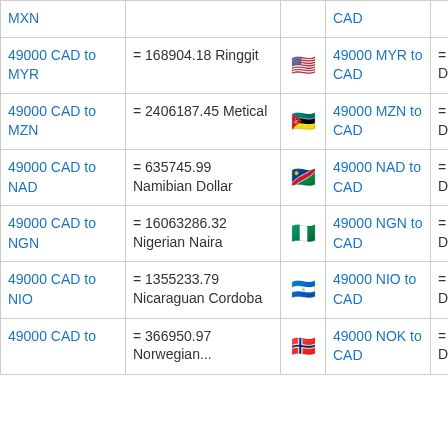| From | Conversion |  | From | Conversion |
| --- | --- | --- | --- | --- |
| MXN |  | CAD | 49000 MXN to CAD |  |
| 49000 CAD to MYR | = 168904.18 Ringgit | 🇺🇸 | 49000 MYR to CAD | = 14215.16 Can Dollars |
| 49000 CAD to MZN | = 2406187.45 Metical | 🇲🇿 | 49000 MZN to CAD | = 997.84 Can Dollars |
| 49000 CAD to NAD | = 635745.99 Namibian Dollar | 🇳🇦 | 49000 NAD to CAD | = 3776.67 Can Dollars |
| 49000 CAD to NGN | = 16063286.32 Nigerian Naira | 🇳🇬 | 49000 NGN to CAD | = 149.47 Can Dollars |
| 49000 CAD to NIO | = 1355233.79 Nicaraguan Cordoba | 🇳🇮 | 49000 NIO to CAD | = 1771.65 Can Dollars |
| 49000 CAD to ... | = 366950.97 Norwegian... | 🇳🇴 | 49000 NOK to CAD | = 6543.11 Can Dollars |